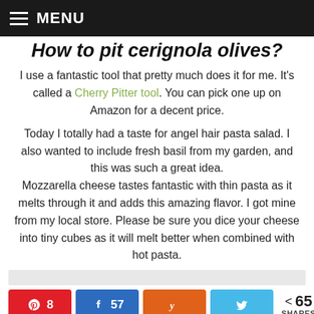MENU
How to pit cerignola olives?
I use a fantastic tool that pretty much does it for me. It's called a Cherry Pitter tool. You can pick one up on Amazon for a decent price.
Today I totally had a taste for angel hair pasta salad. I also wanted to include fresh basil from my garden, and this was such a great idea. Mozzarella cheese tastes fantastic with thin pasta as it melts through it and adds this amazing flavor. I got mine from my local store. Please be sure you dice your cheese into tiny cubes as it will melt better when combined with hot pasta.